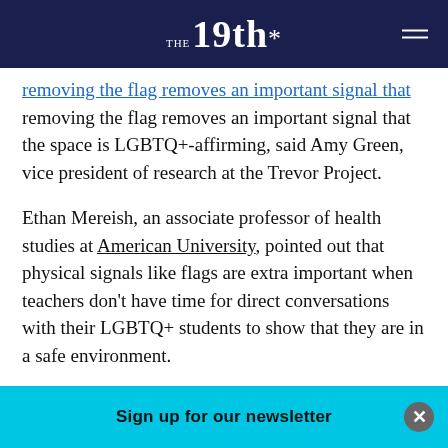THE 19th*
removing the flag removes an important signal that the space is LGBTQ+-affirming, said Amy Green, vice president of research at the Trevor Project.
Ethan Mereish, an associate professor of health studies at American University, pointed out that physical signals like flags are extra important when teachers don't have time for direct conversations with their LGBTQ+ students to show that they are in a safe environment.
“Removing the flag is different than never raising it. … It is a clear expression of lack of support,” said Diego [G Nation
Sign up for our newsletter